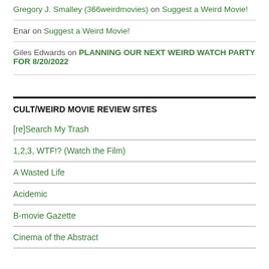Gregory J. Smalley (366weirdmovies) on Suggest a Weird Movie!
Enar on Suggest a Weird Movie!
Giles Edwards on PLANNING OUR NEXT WEIRD WATCH PARTY FOR 8/20/2022
CULT/WEIRD MOVIE REVIEW SITES
[re]Search My Trash
1,2,3, WTF!? (Watch the Film)
A Wasted Life
Acidemic
B-movie Gazette
Cinema of the Abstract